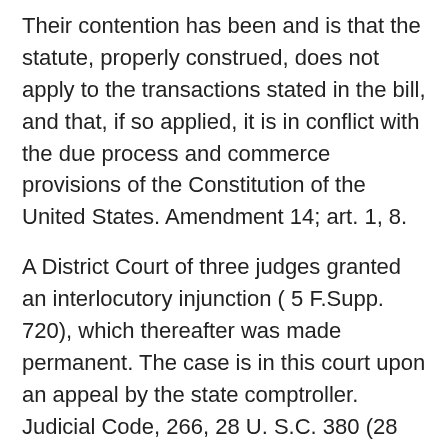Their contention has been and is that the statute, properly construed, does not apply to the transactions stated in the bill, and that, if so applied, it is in conflict with the due process and commerce provisions of the Constitution of the United States. Amendment 14; art. 1, 8.
A District Court of three judges granted an interlocutory injunction ( 5 F.Supp. 720), which thereafter was made permanent. The case is in this court upon an appeal by the state comptroller. Judicial Code, 266, 28 U. S.C. 380 (28 USCA 380).
The Florida statute (chapter 15787, Laws of Florida 1931 (Ex. Sess.)) imposes a stamp tax upon all bonds or certificates of indebtedness issued in Florida; upon each original issue of certificates of stock; and upon all sales of stock or certificates of stock, agreements to sell, memoranda of sales or deliveries, or transfers of title, the stamps to be placed upon the certificates if the assignment of the